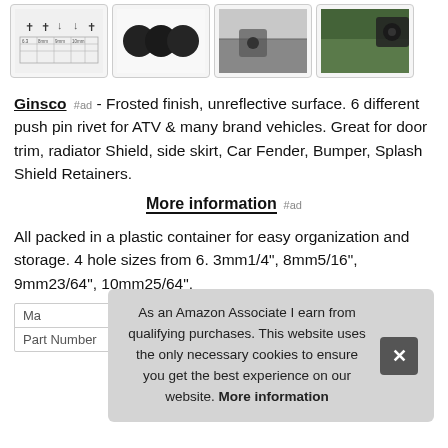[Figure (screenshot): Row of four product thumbnail images: a size chart with push pin types, three black circular push pin rivets, a partially visible car trim area, and a close-up of a push pin on a car surface.]
Ginsco #ad - Frosted finish, unreflective surface. 6 different push pin rivet for ATV & many brand vehicles. Great for door trim, radiator Shield, side skirt, Car Fender, Bumper, Splash Shield Retainers.
More information #ad
All packed in a plastic container for easy organization and storage. 4 hole sizes from 6. 3mm1/4", 8mm5/16", 9mm23/64", 10mm25/64".
| Ma |  |
| --- | --- |
| Part Number | A102 |
As an Amazon Associate I earn from qualifying purchases. This website uses the only necessary cookies to ensure you get the best experience on our website. More information